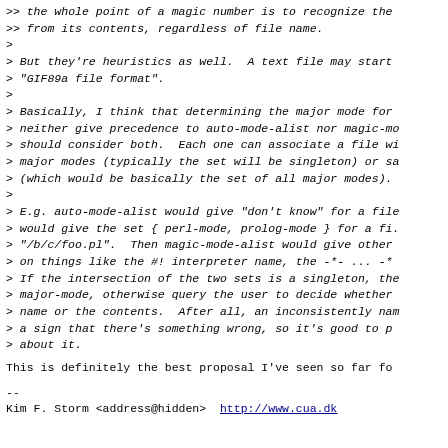>> the whole point of a magic number is to recognize the
>> from its contents, regardless of file name.
>
> But they're heuristics as well.  A text file may start
> "GIF89a file format".
>
> Basically, I think that determining the major mode for
> neither give precedence to auto-mode-alist nor magic-mo
> should consider both.  Each one can associate a file wi
> major modes (typically the set will be singleton) or sa
> (which would be basically the set of all major modes).
>
> E.g. auto-mode-alist would give "don't know" for a file
> would give the set { perl-mode, prolog-mode } for a fi.
> "/b/c/foo.pl".  Then magic-mode-alist would give other
> on things like the #! interpreter name, the -*- ... -*
> If the intersection of the two sets is a singleton, the
> major-mode, otherwise query the user to decide whether
> name or the contents.  After all, an inconsistently nam
> a sign that there's something wrong, so it's good to p
> about it.
This is definitely the best proposal I've seen so far fo
--
Kim F. Storm <address@hidden>  http://www.cua.dk